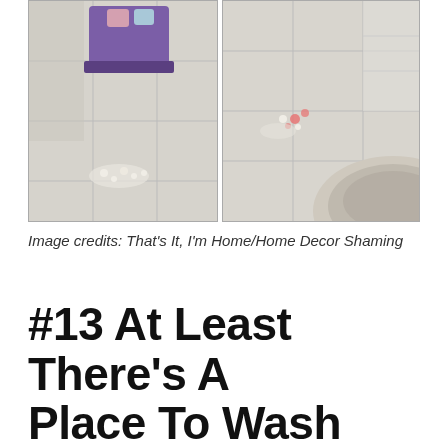[Figure (photo): Two side-by-side photos of a tiled bathroom/mudroom floor. Left photo shows a purple ottoman/bench with light-colored tile floor and some decorative flowers on the floor. Right photo shows the same style tile floor from above, with pink flowers visible and a rounded cream/beige sink or bowl partially visible at the bottom right.]
Image credits: That's It, I'm Home/Home Decor Shaming
#13 At Least There's A Place To Wash Your Hands?